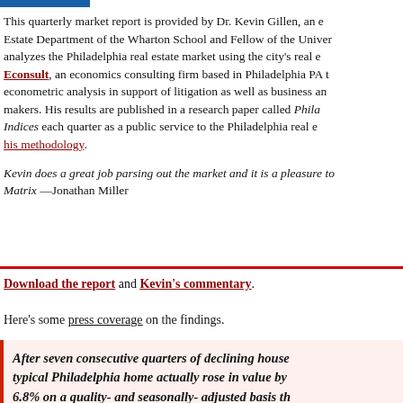This quarterly market report is provided by Dr. Kevin Gillen, an economist in the Real Estate Department of the Wharton School and Fellow of the University who analyzes the Philadelphia real estate market using the city's real estate data. Econsult, an economics consulting firm based in Philadelphia PA that provides econometric analysis in support of litigation as well as business and policy makers. His results are published in a research paper called Philadelphia Indices each quarter as a public service to the Philadelphia real estate community. his methodology.
Kevin does a great job parsing out the market and it is a pleasure to Matrix —Jonathan Miller
Download the report and Kevin's commentary.
Here's some press coverage on the findings.
After seven consecutive quarters of declining house prices, the typical Philadelphia home actually rose in value by approximately 6.8% on a quality- and seasonally- adjusted basis this quarter, according to the latest analysis by Wharton and Ec